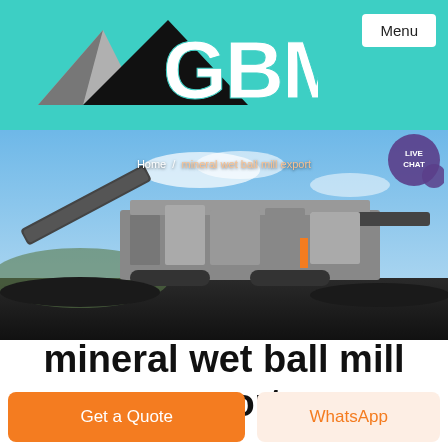GBM — Menu
[Figure (photo): Large industrial mobile crushing and screening machine photographed outdoors on a dark gravel/coal surface, with blue sky in background. Breadcrumb text: Home / mineral wet ball mill export]
mineral wet ball mill export
Get a Quote
WhatsApp